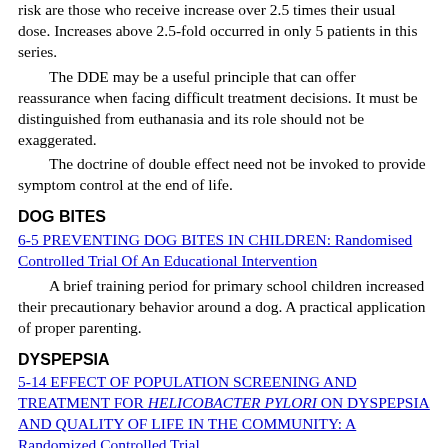risk are those who receive increase over 2.5 times their usual dose. Increases above 2.5-fold occurred in only 5 patients in this series.
The DDE may be a useful principle that can offer reassurance when facing difficult treatment decisions. It must be distinguished from euthanasia and its role should not be exaggerated.
The doctrine of double effect need not be invoked to provide symptom control at the end of life.
DOG BITES
6-5 PREVENTING DOG BITES IN CHILDREN: Randomised Controlled Trial Of An Educational Intervention
A brief training period for primary school children increased their precautionary behavior around a dog. A practical application of proper parenting.
DYSPEPSIA
5-14 EFFECT OF POPULATION SCREENING AND TREATMENT FOR HELICOBACTER PYLORI ON DYSPEPSIA AND QUALITY OF LIFE IN THE COMMUNITY: A Randomized Controlled Trial
Community screening and treatment for H pylori produced only a 5% reduction in dyspepsia. This small benefit had no impact on quality of life.
Should we screen for H pylori in patients with troublesome, persistent dyspepsia? One approach would be to first perform endoscopy for diagnosis and reassurance. Screening for the